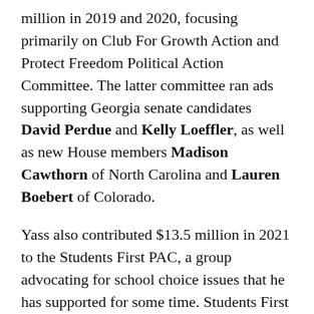million in 2019 and 2020, focusing primarily on Club For Growth Action and Protect Freedom Political Action Committee. The latter committee ran ads supporting Georgia senate candidates David Perdue and Kelly Loeffler, as well as new House members Madison Cawthorn of North Carolina and Lauren Boebert of Colorado.
Yass also contributed $13.5 million in 2021 to the Students First PAC, a group advocating for school choice issues that he has supported for some time. Students First turned around and donated $10 million in November to the Commonwealth Children's Choice Fund – one of Commonwealth Partners' two PACs along with the Commonwealth Leaders Fund.